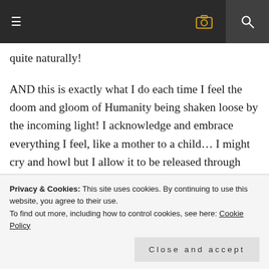☰  📷  🔍
quite naturally!
AND this is exactly what I do each time I feel the doom and gloom of Humanity being shaken loose by the incoming light! I acknowledge and embrace everything I feel, like a mother to a child… I might cry and howl but I allow it to be released through me.
Please note… it isn't necessarily my own dark energy I feel coming up, so although I own it
the roles we've ever played together. The dark
Privacy & Cookies: This site uses cookies. By continuing to use this website, you agree to their use.
To find out more, including how to control cookies, see here: Cookie Policy
Close and accept